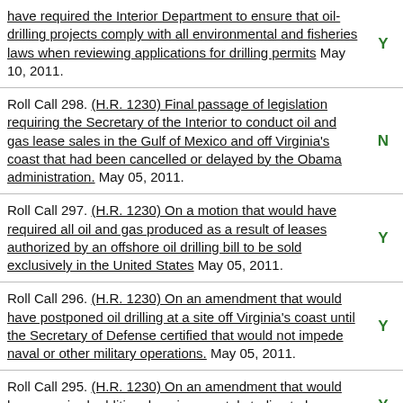have required the Interior Department to ensure that oil-drilling projects comply with all environmental and fisheries laws when reviewing applications for drilling permits May 10, 2011. [Y]
Roll Call 298. (H.R. 1230) Final passage of legislation requiring the Secretary of the Interior to conduct oil and gas lease sales in the Gulf of Mexico and off Virginia's coast that had been cancelled or delayed by the Obama administration. May 05, 2011. [N]
Roll Call 297. (H.R. 1230) On a motion that would have required all oil and gas produced as a result of leases authorized by an offshore oil drilling bill to be sold exclusively in the United States May 05, 2011. [Y]
Roll Call 296. (H.R. 1230) On an amendment that would have postponed oil drilling at a site off Virginia's coast until the Secretary of Defense certified that would not impede naval or other military operations. May 05, 2011. [Y]
Roll Call 295. (H.R. 1230) On an amendment that would have required additional environmental studies to be conducted on the impact of offshore oil drilling in the [Y]